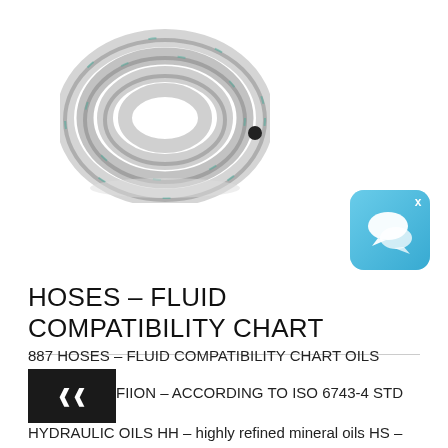[Figure (photo): Coiled grey industrial hose on white background]
[Figure (other): Chat widget icon - blue rounded square with speech bubble icons and close button]
HOSES – FLUID COMPATIBILITY CHART
887 HOSES – FLUID COMPATIBILITY CHART OILS [obscured] FIION – ACCORDING TO ISO 6743-4 STD HYDRAULIC OILS HH – highly refined mineral oils HS – synthetic fluids FLAME RESISTANT OILS WATER BASED HFA – Fluids with not less than 80% of H